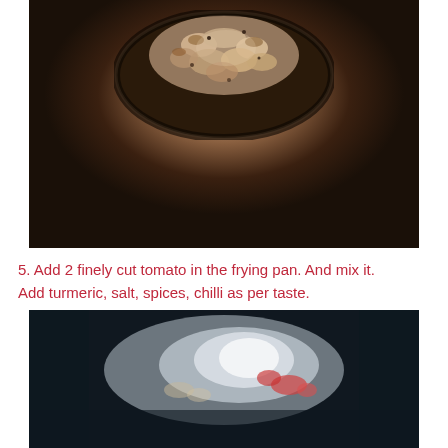[Figure (photo): Close-up photo of chopped onions being sautéed in a dark frying pan, viewed from above. The onions appear partially cooked with some browning.]
5. Add 2 finely cut tomato in the frying pan. And mix it. Add turmeric, salt, spices, chilli as per taste.
[Figure (photo): Close-up photo of a frying pan with chopped tomatoes and spices being cooked, with steam or light reflection visible.]